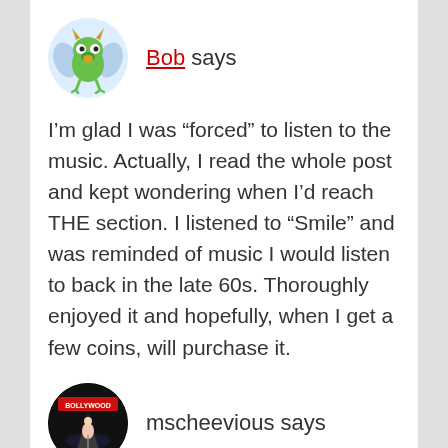[Figure (illustration): Green monster avatar with horns and wings, circular light blue background]
Bob says
I’m glad I was “forced” to listen to the music. Actually, I read the whole post and kept wondering when I’d reach THE section. I listened to “Smile” and was reminded of music I would listen to back in the late 60s. Thoroughly enjoyed it and hopefully, when I get a few coins, will purchase it.
[Figure (photo): Circular avatar showing a Hollywood-themed image with a performer on stage, dark background with red Hollywood text]
mscheevious says